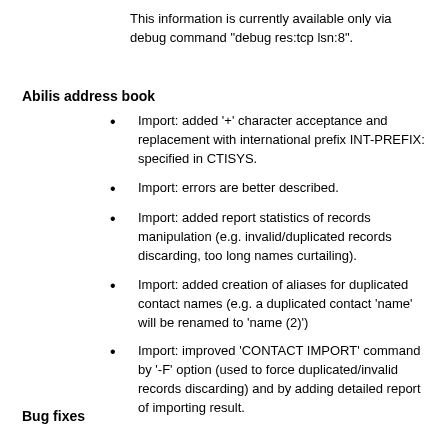This information is currently available only via debug command "debug res:tcp lsn:8".
Abilis address book
Import: added '+' character acceptance and replacement with international prefix INT-PREFIX: specified in CTISYS.
Import: errors are better described.
Import: added report statistics of records manipulation (e.g. invalid/duplicated records discarding, too long names curtailing).
Import: added creation of aliases for duplicated contact names (e.g. a duplicated contact 'name' will be renamed to 'name (2)')
Import: improved 'CONTACT IMPORT' command by '-F' option (used to force duplicated/invalid records discarding) and by adding detailed report of importing result.
Bug fixes